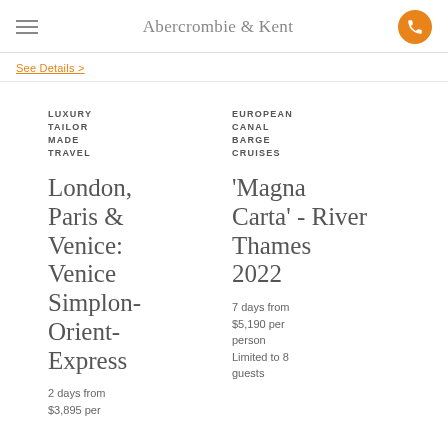Abercrombie & Kent
See Details >
LUXURY TAILOR MADE TRAVEL
EUROPEAN CANAL BARGE CRUISES
London, Paris & Venice: Venice Simplon-Orient-Express
'Magna Carta' - River Thames 2022
2 days from $3,895 per
7 days from $5,190 per person
Limited to 8 guests